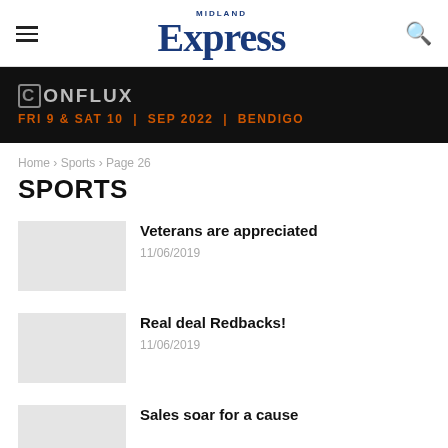MIDLAND Express
[Figure (advertisement): Conflux event ad banner: dark background with Conflux logo and event details FRI 9 & SAT 10 | SEP 2022 | BENDIGO]
Home › Sports › Page 26
SPORTS
Veterans are appreciated
11/06/2019
Real deal Redbacks!
11/06/2019
Sales soar for a cause